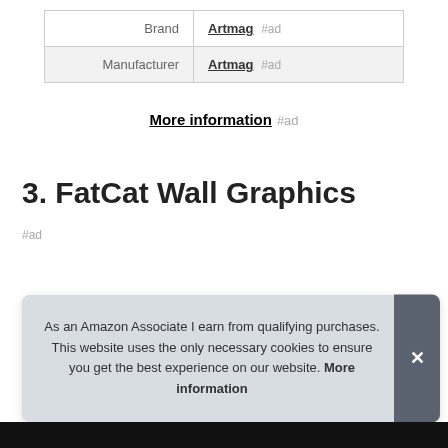| Brand | Artmag #ad |
| Manufacturer | Artmag #ad |
More information #ad
3. FatCat Wall Graphics
#ad
As an Amazon Associate I earn from qualifying purchases. This website uses the only necessary cookies to ensure you get the best experience on our website. More information